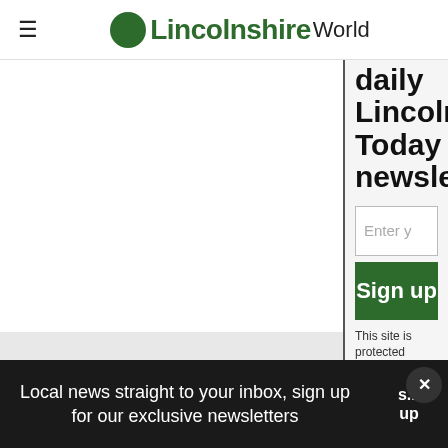LincolnshireWorld
daily Lincoln Today newslet
Enter y
Sign up
This site is protected by reCAPTCHA and th...
Local news straight to your inbox, sign up for our exclusive newsletters
s... up